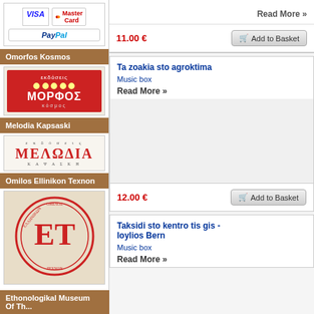[Figure (logo): Payment logos: VISA, MasterCard, PayPal]
Omorfos Kosmos
[Figure (logo): Morfos Kosmos publisher logo - red background with Greek text ΜΟΡΦΟΣ κόσμος]
Melodia Kapsaski
[Figure (logo): Melodia Kapsaski publisher logo with Greek text ΜΕΛΩΔΙΑ ΚΑΨΑΣΚΗ]
Omilos Ellinikon Texnon
[Figure (logo): Omilos Ellinikon Texnon circular red Greek seal logo]
Ethonologikal Museum Of Th...
Read More »
11.00 €
Add to Basket
Ta zoakia sto agroktima
Music box
Read More »
12.00 €
Add to Basket
Taksidi sto kentro tis gis - Ioylios Bern
Music box
Read More »